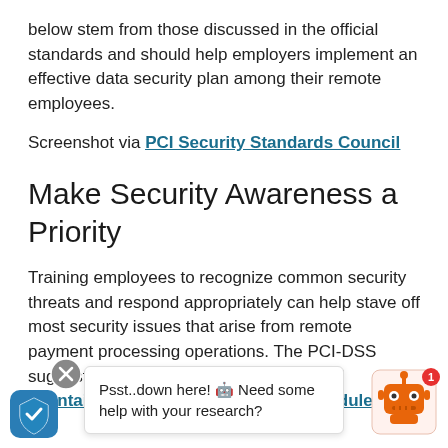below stem from those discussed in the official standards and should help employers implement an effective data security plan among their remote employees.
Screenshot via PCI Security Standards Council
Make Security Awareness a Priority
Training employees to recognize common security threats and respond appropriately can help stave off most security issues that arise from remote payment processing operations. The PCI-DSS suggest doing this for remote workers and maintaining a consistent training schedule to...
Psst..down here! 🤖 Need some help with your research?